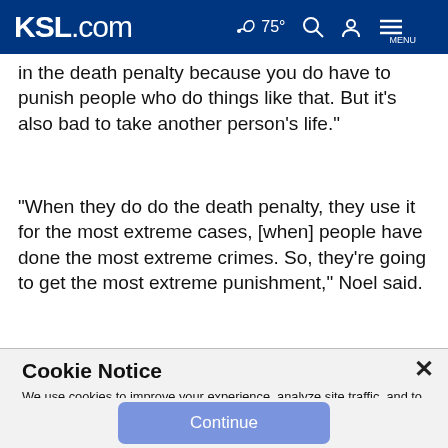KSL.com  75°  Search  Account  MENU
in the death penalty because you do have to punish people who do things like that. But it's also bad to take another person's life."
"When they do do the death penalty, they use it for the most extreme cases, [when] people have done the most extreme crimes. So, they're going to get the most extreme punishment," Noel said.
Cookie Notice
We use cookies to improve your experience, analyze site traffic, and to personalize content and ads. By continuing to use our site, you consent to our use of cookies. Please visit our Terms of Use and Privacy Policy for more information.
Continue